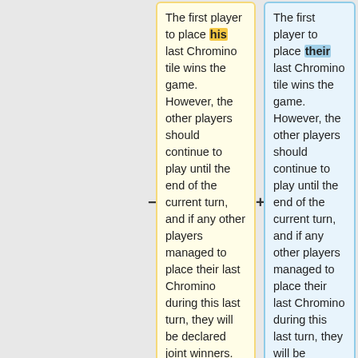The first player to place his last Chromino tile wins the game. However, the other players should continue to play until the end of the current turn, and if any other players managed to place their last Chromino during this last turn, they will be declared joint winners.
The first player to place their last Chromino tile wins the game. However, the other players should continue to play until the end of the current turn, and if any other players managed to place their last Chromino during this last turn, they will be declared joint winners.
==Game Options==
==Game Options==